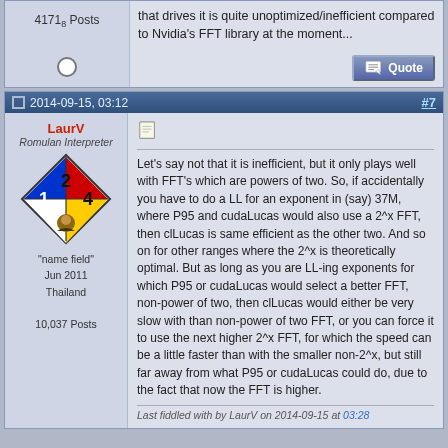4171₈ Posts
that drives it is quite unoptimized/inefficient compared to Nvidia's FFT library at the moment...
2014-09-15, 03:12
#7
LaurV
Romulan Interpreter
[Figure (illustration): NFPA hazard diamond with numbers: 2 (red/fire), 1 (blue/health), 4 (yellow/reactivity), and a small photo of a person in the white/special section]
"name field"
Jun 2011
Thailand
10,037 Posts
Let's say not that it is inefficient, but it only plays well with FFT's which are powers of two. So, if accidentally you have to do a LL for an exponent in (say) 37M, where P95 and cudaLucas would also use a 2^x FFT, then clLucas is same efficient as the other two. And so on for other ranges where the 2^x is theoretically optimal. But as long as you are LL-ing exponents for which P95 or cudaLucas would select a better FFT, non-power of two, then clLucas would either be very slow with than non-power of two FFT, or you can force it to use the next higher 2^x FFT, for which the speed can be a little faster than with the smaller non-2^x, but still far away from what P95 or cudaLucas could do, due to the fact that now the FFT is higher.
Last fiddled with by LaurV on 2014-09-15 at 03:28